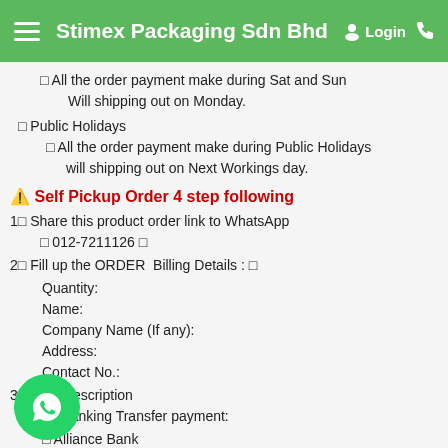Stimex Packaging Sdn Bhd
❧ All the order payment make during Sat and Sun Will shipping out on Monday.
❧ Public Holidays
❧ All the order payment make during Public Holidays will shipping out on Next Workings day.
⚠️ Self Pickup Order 4 step following
1❧ Share this product order link to WhatsApp
❧ 012-7211126 ❧
2❧ Fill up the ORDER Billing Details : ❧
Quantity:
Name:
Company Name (If any):
Address:
Contact No.:
3❧ description
Banking Transfer payment:
❧ Alliance Bank
STIMEX PACKAGING SDN BHD